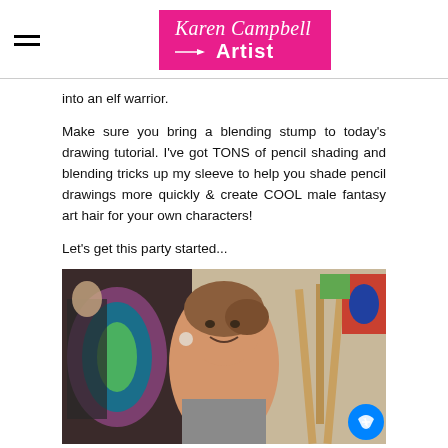Karen Campbell Artist
into an elf warrior.
Make sure you bring a blending stump to today's drawing tutorial. I've got TONS of pencil shading and blending tricks up my sleeve to help you shade pencil drawings more quickly & create COOL male fantasy art hair for your own characters!
Let's get this party started...
[Figure (photo): Woman smiling in an art studio surrounded by paintings on the wall, with easels visible. A Messenger chat bubble is visible in the bottom right corner.]